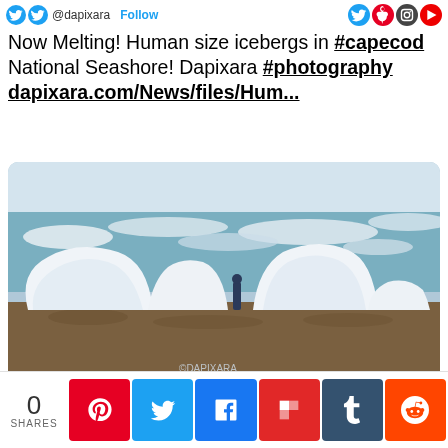@dapixara · Follow
Now Melting! Human size icebergs in #capecod National Seashore! Dapixara #photography dapixara.com/News/files/Hum...
[Figure (photo): A person standing among large human-sized ice chunks/icebergs on a rocky beach shore, with icy ocean water visible in the background. The scene is at Cape Cod National Seashore. A watermark reads ©DAPIXARA.]
0 SHARES